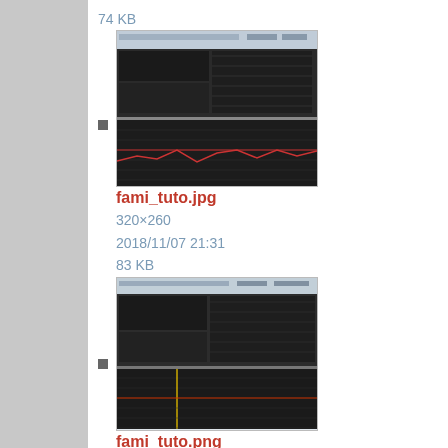74 KB
[Figure (screenshot): Thumbnail of fami_tuto.jpg showing a software interface with dark panels and grid/chart displays]
fami_tuto.jpg
320×260
2018/11/07 21:31
83 KB
[Figure (screenshot): Thumbnail of fami_tuto.png showing a software interface with dark panels and grid/chart displays]
fami_tuto.png
751×610
2018/11/07 21:31
40 KB
[Figure (photo): Thumbnail of famicoms.jpg showing a Famicom gaming console with controllers and cables]
famicoms.jpg